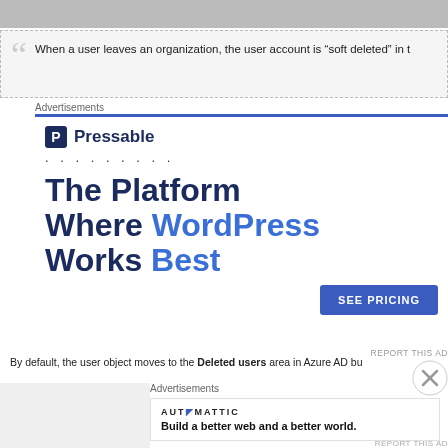[Figure (photo): Top gray image strip cropped at top of page]
When a user leaves an organization, the user account is "soft deleted" in t
Advertisements
[Figure (advertisement): Pressable advertisement: The Platform Where WordPress Works Best. SEE PRICING button.]
By default, the user object moves to the Deleted users area in Azure AD bu
Advertisements
[Figure (advertisement): Automattic advertisement: Build a better web and a better world.]